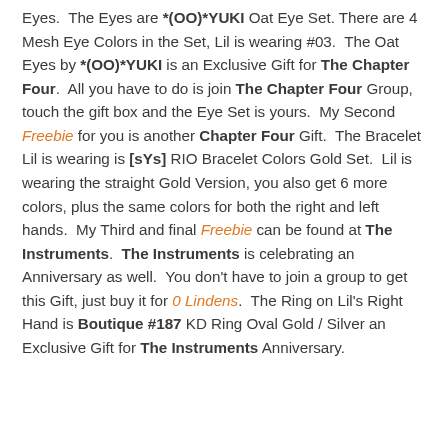Eyes.  The Eyes are *(OO)*YUKI Oat Eye Set. There are 4 Mesh Eye Colors in the Set, Lil is wearing #03.  The Oat Eyes by *(OO)*YUKI is an Exclusive Gift for The Chapter Four.  All you have to do is join The Chapter Four Group, touch the gift box and the Eye Set is yours.  My Second Freebie for you is another Chapter Four Gift.  The Bracelet Lil is wearing is [sYs] RIO Bracelet Colors Gold Set.  Lil is wearing the straight Gold Version, you also get 6 more colors, plus the same colors for both the right and left hands.  My Third and final Freebie can be found at The Instruments.  The Instruments is celebrating an Anniversary as well.  You don't have to join a group to get this Gift, just buy it for 0 Lindens.  The Ring on Lil's Right Hand is Boutique #187 KD Ring Oval Gold / Silver an Exclusive Gift for The Instruments Anniversary.